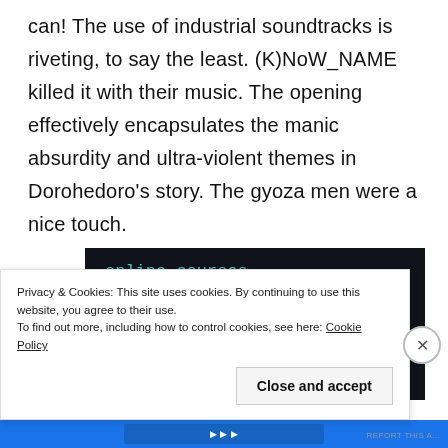can! The use of industrial soundtracks is riveting, to say the least. (K)NoW_NAME killed it with their music. The opening effectively encapsulates the manic absurdity and ultra-violent themes in Dorohedoro's story. The gyoza men were a nice touch.
[Figure (screenshot): Dark advertisement panel with text 'online courses.' in teal/cyan color, sensei logo at bottom left, 'Powered by WordPress.com' at bottom right]
Privacy & Cookies: This site uses cookies. By continuing to use this website, you agree to their use.
To find out more, including how to control cookies, see here: Cookie Policy